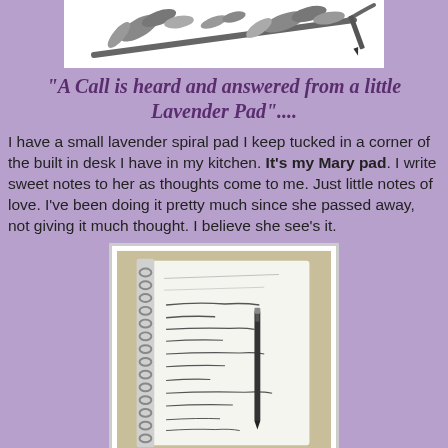[Figure (photo): Top decorative photo showing branches with leaves against a white background, partially cropped]
"A Call is heard and answered from a little Lavender Pad"....
I have a small lavender spiral pad I keep tucked in a corner of the built in desk I have in my kitchen. It's my Mary pad. I write sweet notes to her as thoughts come to me. Just little notes of love. I've been doing it pretty much since she passed away, not giving it much thought. I believe she see's it.
[Figure (photo): Photo of a small spiral-bound notebook with handwritten notes and a pen resting on it, placed on a light surface]
I'm writing about this now because last night I wrote a love